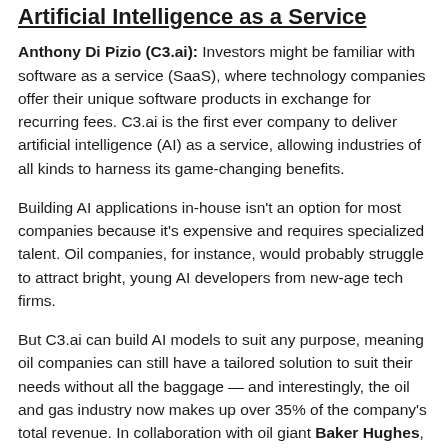Artificial Intelligence as a Service
Anthony Di Pizio (C3.ai): Investors might be familiar with software as a service (SaaS), where technology companies offer their unique software products in exchange for recurring fees. C3.ai is the first ever company to deliver artificial intelligence (AI) as a service, allowing industries of all kinds to harness its game-changing benefits.
Building AI applications in-house isn't an option for most companies because it's expensive and requires specialized talent. Oil companies, for instance, would probably struggle to attract bright, young AI developers from new-age tech firms.
But C3.ai can build AI models to suit any purpose, meaning oil companies can still have a tailored solution to suit their needs without all the baggage — and interestingly, the oil and gas industry now makes up over 35% of the company's total revenue. In collaboration with oil giant Baker Hughes, C3.ai developed a portfolio of AI applications that can predict equipment failures and reduce carbon emissions by improving